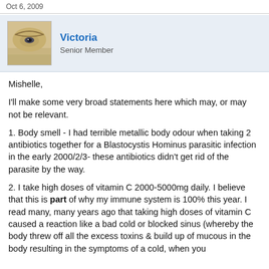Oct 6, 2009
[Figure (photo): Avatar photo of user Victoria showing a close-up eye]
Victoria
Senior Member
Mishelle,
I'll make some very broad statements here which may, or may not be relevant.
1. Body smell - I had terrible metallic body odour when taking 2 antibiotics together for a Blastocystis Hominus parasitic infection in the early 2000/2/3- these antibiotics didn't get rid of the parasite by the way.
2. I take high doses of vitamin C 2000-5000mg daily. I believe that this is part of why my immune system is 100% this year. I read many, many years ago that taking high doses of vitamin C caused a reaction like a bad cold or blocked sinus (whereby the body threw off all the excess toxins & build up of mucous in the body resulting in the symptoms of a cold, when you